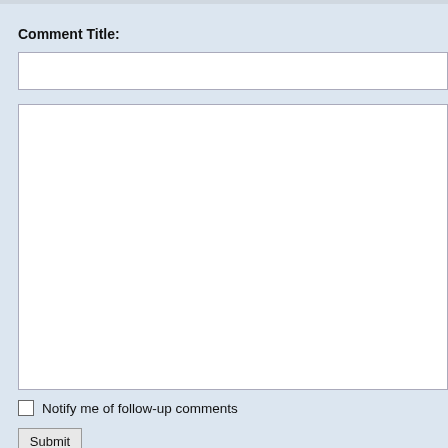Comment Title:
[Figure (screenshot): Empty text input field for comment title]
[Figure (screenshot): Large empty textarea for comment body]
Notify me of follow-up comments
Submit